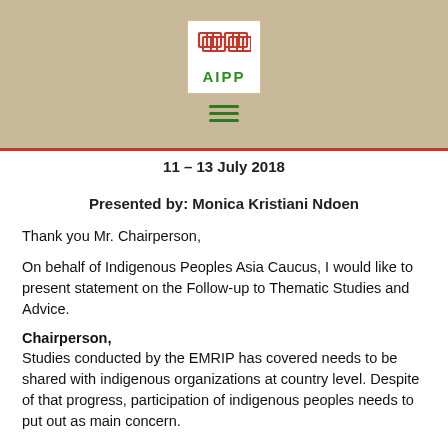[Figure (logo): AIPP logo — red interlocking pattern with green AIPP text, on white background with tan border, followed by a green hamburger menu icon]
11 – 13 July 2018
Presented by: Monica Kristiani Ndoen
Thank you Mr. Chairperson,
On behalf of Indigenous Peoples Asia Caucus, I would like to present statement on the Follow-up to Thematic Studies and Advice.
Chairperson,
Studies conducted by the EMRIP has covered needs to be shared with indigenous organizations at country level. Despite of that progress, participation of indigenous peoples needs to put out as main concern.